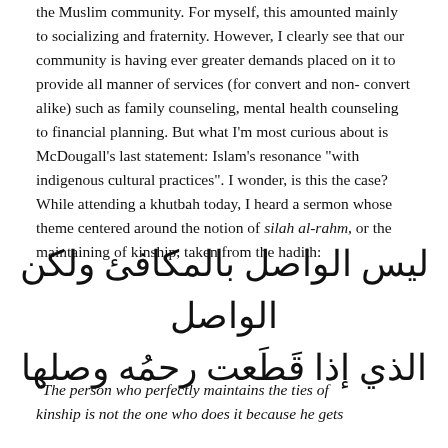the Muslim community. For myself, this amounted mainly to socializing and fraternity. However, I clearly see that our community is having ever greater demands placed on it to provide all manner of services (for convert and non-convert alike) such as family counseling, mental health counseling to financial planning. But what I'm most curious about is McDougall's last statement: Islam's resonance "with indigenous cultural practices". I wonder, is this the case? While attending a khutbah today, I heard a sermon whose theme centered around the notion of silah al-rahm, or the maintaining of kinship, taken from the hadith:
[Figure (other): Arabic text of a hadith: ليس الواصل بالمكافئ ولكن الواصل الذي إذا قطَعت رحمُه وصلها]
"The person who perfectly maintains the ties of kinship is not the one who does it because he gets